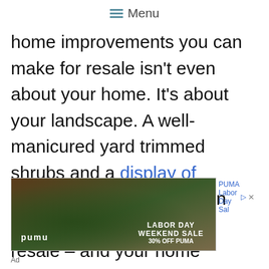≡ Menu
home improvements you can make for resale isn't even about your home. It's about your landscape. A well-manicured yard trimmed shrubs and a display of beautiful perennials has an incredible impact on your resale – and your home enjoyment. Especially if you've been making the best of staycations at home.
[Figure (photo): PUMA Labor Day Weekend Sale advertisement showing athletes, with text 'LABOR DAY WEEKEND SALE 30% OFF PUMA']
Ad